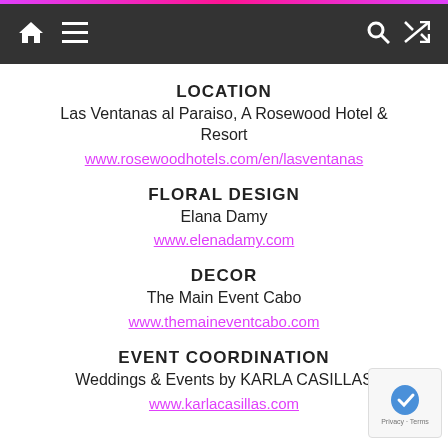Navigation bar with home, menu, search, and shuffle icons
LOCATION
Las Ventanas al Paraiso, A Rosewood Hotel & Resort
www.rosewoodhotels.com/en/lasventanas
FLORAL DESIGN
Elana Damy
www.elenadamy.com
DECOR
The Main Event Cabo
www.themaineventcabo.com
EVENT COORDINATION
Weddings & Events by KARLA CASILLAS
www.karlacasillas.com